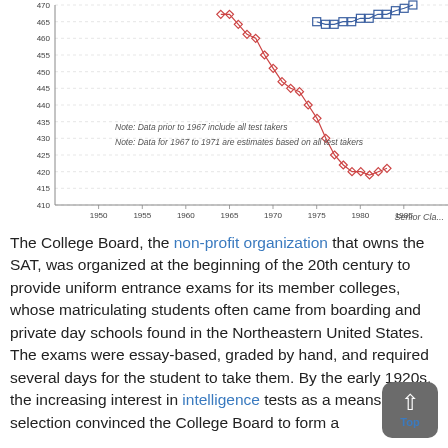[Figure (continuous-plot): Cropped portion of a line chart showing SAT score trends from approximately 1945 to 1985+. Y-axis ranges from 410 to 470. Two series: a red diamond-marker line (verbal/math scores declining from ~467 around 1967 to ~420 by 1980) and a blue square-marker line (stable around 465-470 from 1975 onward). Notes inside chart: 'Note: Data prior to 1967 include all test takers' and 'Note: Data for 1967 to 1971 are estimates based on all test takers'. X-axis labels: 1950, 1955, 1960, 1965, 1970, 1975, 1980, 1985.]
Senior Cla...
The College Board, the non-profit organization that owns the SAT, was organized at the beginning of the 20th century to provide uniform entrance exams for its member colleges, whose matriculating students often came from boarding and private day schools found in the Northeastern United States. The exams were essay-based, graded by hand, and required several days for the student to take them. By the early 1920s, the increasing interest in intelligence tests as a means of selection convinced the College Board to form a